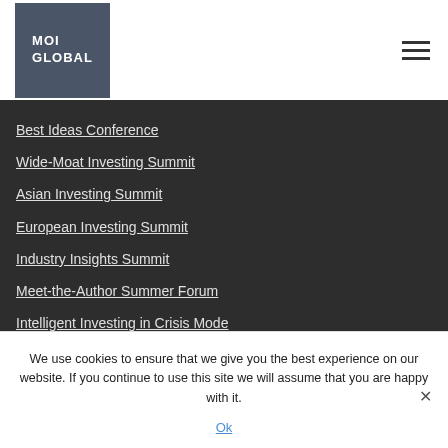[Figure (logo): MOI Global logo - dark grey square with white bold text reading MOI GLOBAL]
Best Ideas Conference
Wide-Moat Investing Summit
Asian Investing Summit
European Investing Summit
Industry Insights Summit
Meet-the-Author Summer Forum
Intelligent Investing in Crisis Mode
We use cookies to ensure that we give you the best experience on our website. If you continue to use this site we will assume that you are happy with it.
Ok